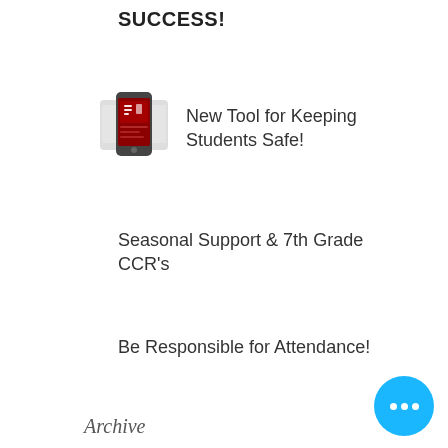SUCCESS!
[Figure (illustration): Smartphone icon with multiple device screens and notification symbols]
New Tool for Keeping Students Safe!
Seasonal Support & 7th Grade CCR's
Be Responsible for Attendance!
Archive